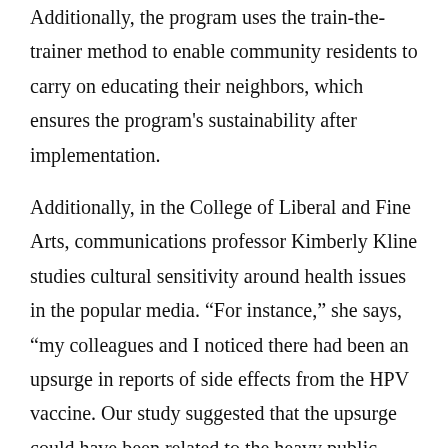Additionally, the program uses the train-the-trainer method to enable community residents to carry on educating their neighbors, which ensures the program's sustainability after implementation.
Additionally, in the College of Liberal and Fine Arts, communications professor Kimberly Kline studies cultural sensitivity around health issues in the popular media. “For instance,” she says, “my colleagues and I noticed there had been an upsurge in reports of side effects from the HPV vaccine. Our study suggested that the upsurge could have been related to the heavy public debate regarding the vaccine. In other words, it appears that public